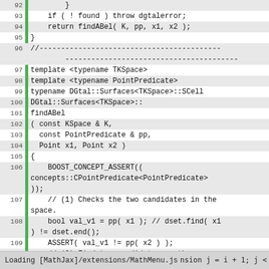[Figure (screenshot): Source code viewer showing C++ code lines 92-116 with line numbers, green gutter markers, and alternating background. Code shows DGtal::Surfaces template functions including findABel implementation.]
Loading [MathJax]/extensions/MathMenu.js    nsion j = i + 1; j <